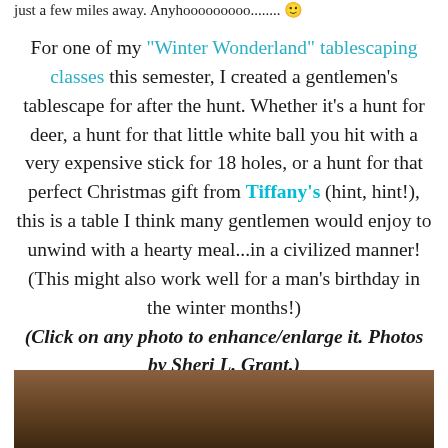just a few miles away. Anyhooooooooo........ 🙂
For one of my "Winter Wonderland" tablescaping classes this semester, I created a gentlemen's tablescape for after the hunt. Whether it's a hunt for deer, a hunt for that little white ball you hit with a very expensive stick for 18 holes, or a hunt for that perfect Christmas gift from Tiffany's (hint, hint!), this is a table I think many gentlemen would enjoy to unwind with a hearty meal...in a civilized manner! (This might also work well for a man's birthday in the winter months!)
(Click on any photo to enhance/enlarge it. Photos by Sheri L. Grant.)
[Figure (photo): Partial view of a decorated table setting with warm brown tones, bottom of page]